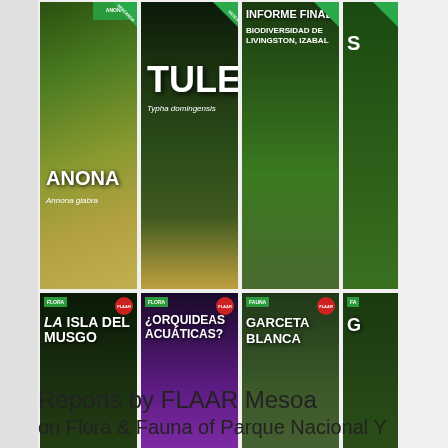[Figure (illustration): Grid of book/report covers for FLAAR Mesoamerica publications on flora and fauna, including: ANONA (Annona glabra), TULE (Typha domingensis), INFORME FINAL Biodiversidad de Livingston Izabal, a fourth partially visible cover, LA ISLA DEL MUSGO, ORQUIDEAS ACUATICAS?, GARCETA BLANCA, another partially visible cover, and YAKHIA PARK]
Reports by FLAAR Mesoamerica on Flora & Fauna of Parque Nacional Y...